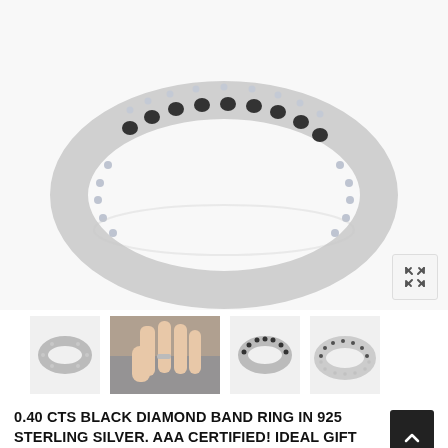[Figure (photo): Close-up of a sterling silver ring with black diamonds set in a row along the center, white diamond halo details, on a white background]
[Figure (photo): Thumbnail: silver diamond band ring, side view on white background]
[Figure (photo): Thumbnail: hand with ring worn on finger, lifestyle photo]
[Figure (photo): Thumbnail: black diamond band ring, top-down view]
[Figure (photo): Thumbnail: silver and black diamond band ring, angled view]
0.40 CTS BLACK DIAMOND BAND RING IN 925 STERLING SILVER. AAA CERTIFIED! IDEAL GIFT FOR WIFE, GIRLFRIEND
In Stock   SKU: BD-24379   No reviews